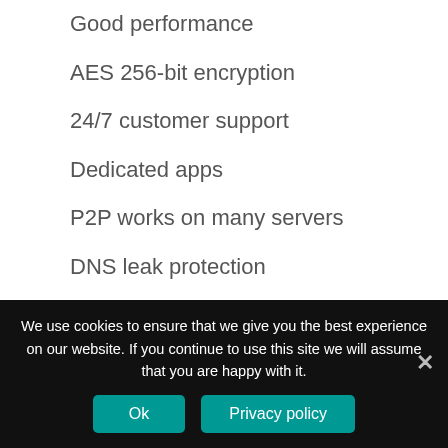Good performance
AES 256-bit encryption
24/7 customer support
Dedicated apps
P2P works on many servers
DNS leak protection
Etc.
Cons:
We use cookies to ensure that we give you the best experience on our website. If you continue to use this site we will assume that you are happy with it.